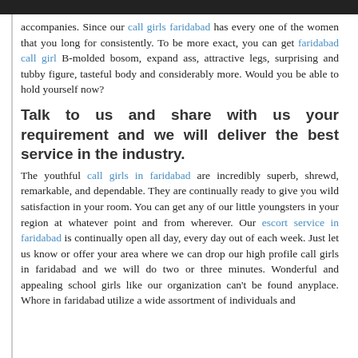accompanies. Since our call girls faridabad has every one of the women that you long for consistently. To be more exact, you can get faridabad call girl B-molded bosom, expand ass, attractive legs, surprising and tubby figure, tasteful body and considerably more. Would you be able to hold yourself now?
Talk to us and share with us your requirement and we will deliver the best service in the industry.
The youthful call girls in faridabad are incredibly superb, shrewd, remarkable, and dependable. They are continually ready to give you wild satisfaction in your room. You can get any of our little youngsters in your region at whatever point and from wherever. Our escort service in faridabad is continually open all day, every day out of each week. Just let us know or offer your area where we can drop our high profile call girls in faridabad and we will do two or three minutes. Wonderful and appealing school girls like our organization can't be found anyplace. Whore in faridabad utilize a wide assortment of individuals and